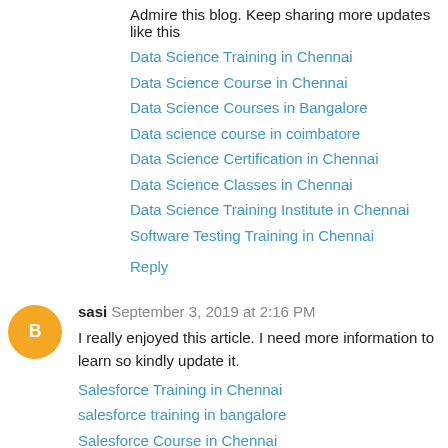Admire this blog. Keep sharing more updates like this
Data Science Training in Chennai
Data Science Course in Chennai
Data Science Courses in Bangalore
Data science course in coimbatore
Data Science Certification in Chennai
Data Science Classes in Chennai
Data Science Training Institute in Chennai
Software Testing Training in Chennai
Reply
sasi  September 3, 2019 at 2:16 PM
I really enjoyed this article. I need more information to learn so kindly update it.
Salesforce Training in Chennai
salesforce training in bangalore
Salesforce Course in Chennai
salesforce training institute in chennai
salesforce developer training in chennai
Salesforce Training Chennai
Big Data Course in Coimbatore